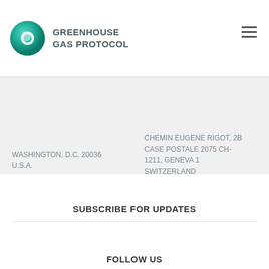GREENHOUSE GAS PROTOCOL
WASHINGTON, D.C. 20036 U.S.A.
CHEMIN EUGENE RIGOT, 2B CASE POSTALE 2075 CH-1211, GENEVA 1 SWITZERLAND
SUBSCRIBE FOR UPDATES
SIGN UP FOR UPDATES
FOLLOW US